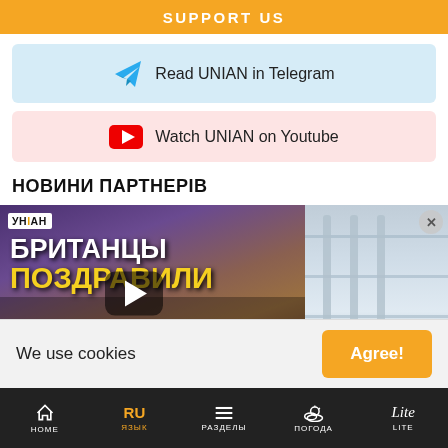SUPPORT US
Read UNIAN in Telegram
Watch UNIAN on Youtube
НОВИНИ ПАРТНЕРІВ
[Figure (screenshot): Video thumbnail showing UNIAN logo with Cyrillic text 'БРИТАНЦЫ ПОЗДРАВИЛИ' and a play button, alongside a second partner image with shelf/product]
We use cookies
Agree!
HOME  ЯЗЫК (RU)  РАЗДЕЛЫ  ПОГОДА  LITE